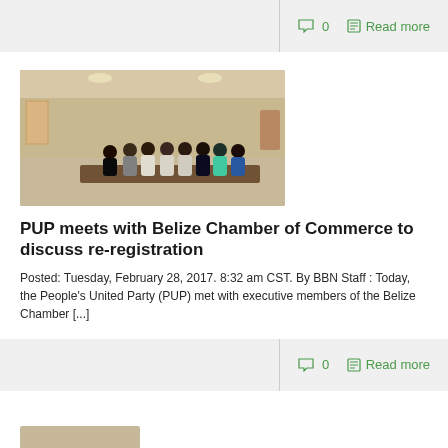0   Read more
[Figure (photo): Group photo of people standing in a conference room around a table, likely the PUP meeting with Belize Chamber of Commerce executives]
PUP meets with Belize Chamber of Commerce to discuss re-registration
Posted: Tuesday, February 28, 2017. 8:32 am CST. By BBN Staff : Today, the People's United Party (PUP) met with executive members of the Belize Chamber [...]
0   Read more